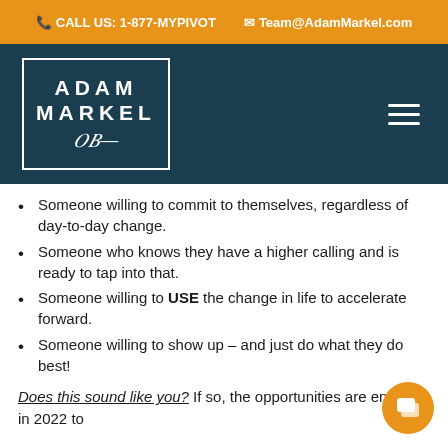CALL US: 1-877-MYPIVOT   Team@AdamMarkel.com
[Figure (logo): Adam Markel logo with text ADAM MARKEL in white on dark teal background inside a white border box with a signature below]
Someone willing to commit to themselves, regardless of day-to-day change.
Someone who knows they have a higher calling and is ready to tap into that.
Someone willing to USE the change in life to accelerate forward.
Someone willing to show up – and just do what they do best!
Does this sound like you? If so, the opportunities are endless in 2022 to